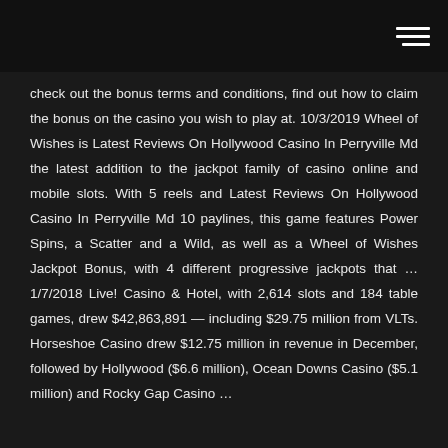check out the bonus terms and conditions, find out how to claim the bonus on the casino you wish to play at. 10/3/2019 Wheel of Wishes is Latest Reviews On Hollywood Casino In Perryville Md the latest addition to the jackpot family of casino online and mobile slots. With 5 reels and Latest Reviews On Hollywood Casino In Perryville Md 10 paylines, this game features Power Spins, a Scatter and a Wild, as well as a Wheel of Wishes Jackpot Bonus, with 4 different progressive jackpots that … 1/7/2018 Live! Casino & Hotel, with 2,614 slots and 184 table games, drew $42,863,891 — including $29.75 million from VLTs. Horseshoe Casino drew $12.75 million in revenue in December, followed by Hollywood ($6.6 million), Ocean Downs Casino ($5.1 million) and Rocky Gap Casino …